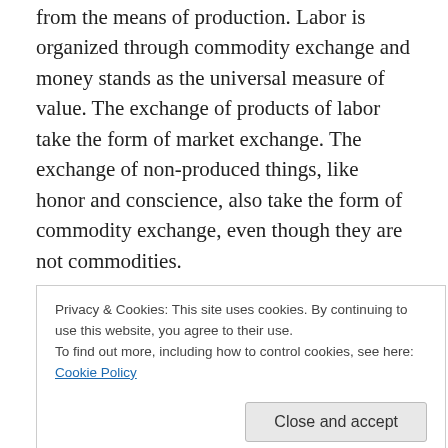from the means of production. Labor is organized through commodity exchange and money stands as the universal measure of value. The exchange of products of labor take the form of market exchange. The exchange of non-produced things, like honor and conscience, also take the form of commodity exchange, even though they are not commodities.
Though BB does not bring up the topic at this point we might also mention the exchange-value of produced commodities that are not freely reproducible. A one-of-a-kind work of art like a Picasso painting is a commodity but
Privacy & Cookies: This site uses cookies. By continuing to use this website, you agree to their use.
To find out more, including how to control cookies, see here: Cookie Policy
conscience. Marx excludes non-reproducible commodities